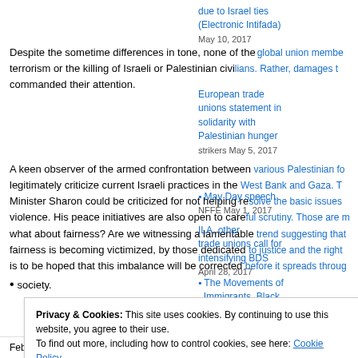due to Israel ties (Electronic Intifada) May 10, 2017
Despite the sometime differences in tone, none of the global union members terrorism or the killing of Israeli or Palestinian civilians. Rather, damages t commanded their attention.
European trade unions statement in solidarity with Palestinian hunger strikers May 5, 2017
A keen observer of the armed confrontation between various Palestinian fo legitimately criticize current Israeli practices in the West Bank and Gaza. T Minister Sharon could be criticized for not helping resolve the basic issues violence. His peace initiatives are also open to careful scrutiny. Those are m what about fairness? Are we witnessing a lamentable trend suggesting that fairness is becoming victimized, by those dedicated to justice and the right is to be hoped that this imbalance will be corrected before it spreads throug society.
May Day speech NFFE May 1, 2017
ILA, other trade unions call for intensifying BDS April 28, 2017
The Movements of Immigrants, Black
Privacy & Cookies: This site uses cookies. By continuing to use this website, you agree to their use.
To find out more, including how to control cookies, see here: Cookie Policy
Close and accept
February 22, 2002
From PALESTINE to